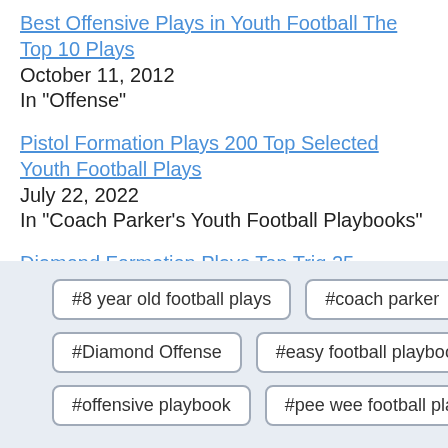Best Offensive Plays in Youth Football The Top 10 Plays
October 11, 2012
In "Offense"
Pistol Formation Plays 200 Top Selected Youth Football Plays
July 22, 2022
In "Coach Parker's Youth Football Playbooks"
Diamond Formation Plays Top Trig 25 Counter Play Youth Football
February 11, 2021
In "Free Youth Football Plays"
#8 year old football plays  #coach parker  #Diamond Offense  #easy football playbook  #offensive playbook  #pee wee football plays